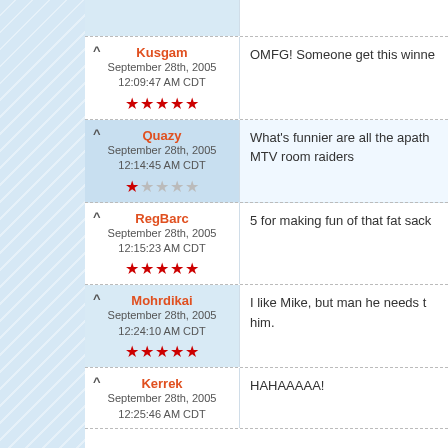(partial top row, clipped)
Kusgam | September 28th, 2005 12:09:47 AM CDT | 5 stars | OMFG! Someone get this winne...
Quazy | September 28th, 2005 12:14:45 AM CDT | 1 star | What's funnier are all the apath... MTV room raiders
RegBarc | September 28th, 2005 12:15:23 AM CDT | 5 stars | 5 for making fun of that fat sack...
Mohrdikai | September 28th, 2005 12:24:10 AM CDT | 5 stars | I like Mike, but man he needs t... him.
Kerrek | September 28th, 2005 12:25:46 AM CDT | HAHAAAAA!